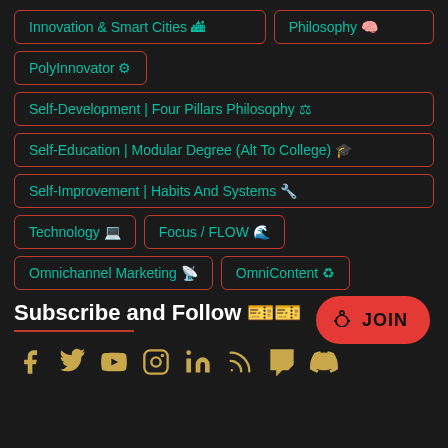Innovation & Smart Cities 🏙
Philosophy 🧠
PolyInnovator ⚙
Self-Development | Four Pillars Philosophy ⚖
Self-Education | Modular Degree (Alt To College) 🎓
Self-Improvement | Habits And Systems 🔧
Technology 💻
Focus / FLOW 🌊
Omnichannel Marketing 📡
OmniContent ♻
Subscribe and Follow 🎫🎫
JOIN